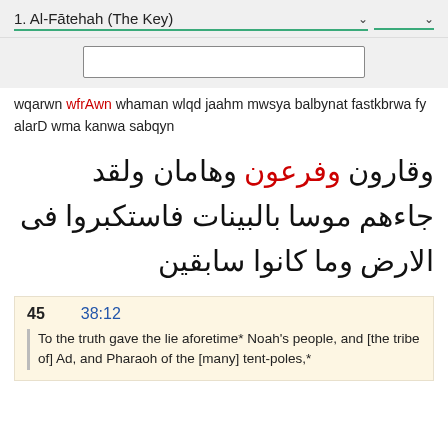1. Al-Fātehah (The Key)
[Figure (screenshot): Search input box]
wqarwn wfrAwn whaman wlqd jaahm mwsya balbynat fastkbrwa fy alarD wma kanwa sabqyn
وقارون وفرعون وهامان ولقد جاءهم موسا بالبينات فاستكبروا فى الارض وما كانوا سابقين
45  38:12  To the truth gave the lie aforetime* Noah's people, and [the tribe of] Ad, and Pharaoh of the [many] tent-poles,*